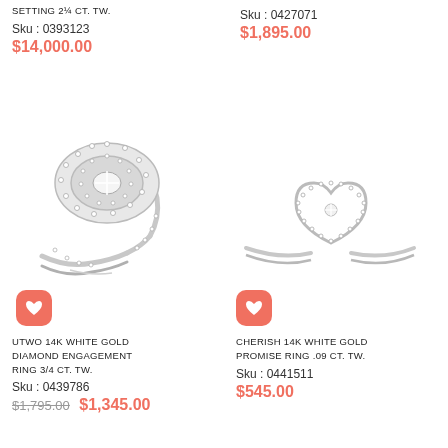SETTING 2 1/4 CT. TW.
Sku : 0393123
$14,000.00
Sku : 0427071
$1,895.00
[Figure (photo): UTWO 14K white gold diamond engagement ring with oval halo and diamond-encrusted band, bypass style]
[Figure (photo): CHERISH 14K white gold diamond promise ring with open heart shape and small diamond center]
UTWO 14K WHITE GOLD DIAMOND ENGAGEMENT RING 3/4 CT. TW.
Sku : 0439786
$1,795.00  $1,345.00
CHERISH 14K WHITE GOLD PROMISE RING .09 CT. TW.
Sku : 0441511
$545.00